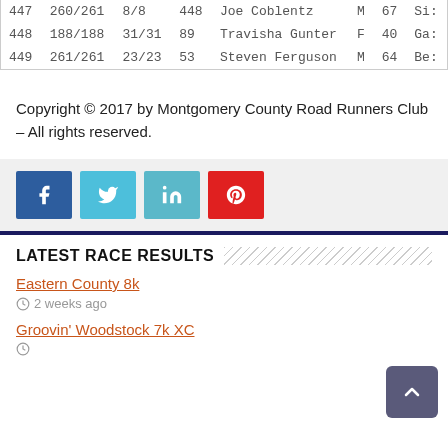| Rank | Overall | Age Grp | Bib | Name | Sex | Age | City |
| --- | --- | --- | --- | --- | --- | --- | --- |
| 447 | 260/261 | 8/8 | 448 | Joe Coblentz | M | 67 | Si... |
| 448 | 188/188 | 31/31 | 89 | Travisha Gunter | F | 40 | Ga... |
| 449 | 261/261 | 23/23 | 53 | Steven Ferguson | M | 64 | Be... |
Copyright © 2017 by Montgomery County Road Runners Club – All rights reserved.
LATEST RACE RESULTS
Eastern County 8k
2 weeks ago
Groovin' Woodstock 7k XC